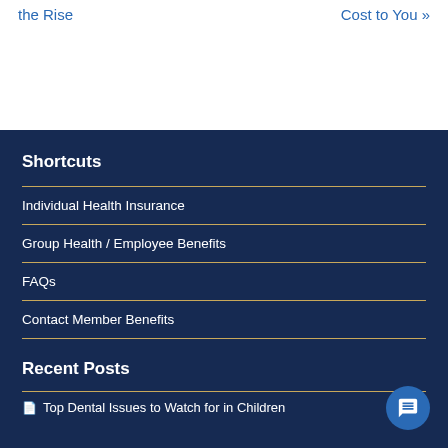the Rise
Cost to You »
Shortcuts
Individual Health Insurance
Group Health / Employee Benefits
FAQs
Contact Member Benefits
Recent Posts
Top Dental Issues to Watch for in Children